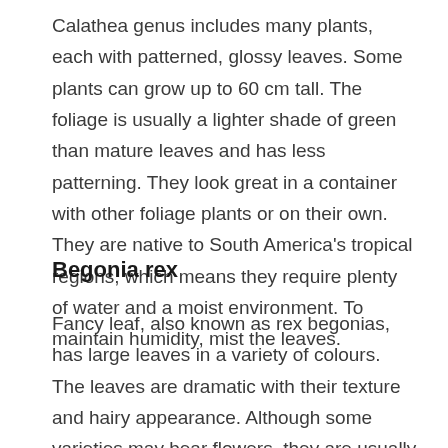Calathea genus includes many plants, each with patterned, glossy leaves. Some plants can grow up to 60 cm tall. The foliage is usually a lighter shade of green than mature leaves and has less patterning. They look great in a container with other foliage plants or on their own. They are native to South America's tropical regions, which means they require plenty of water and a moist environment. To maintain humidity, mist the leaves.
Begonia rex
Fancy leaf, also known as rex begonias, has large leaves in a variety of colours. The leaves are dramatic with their texture and hairy appearance. Although some varieties may bear flowers, they are usually insignificant and growers often remove them to